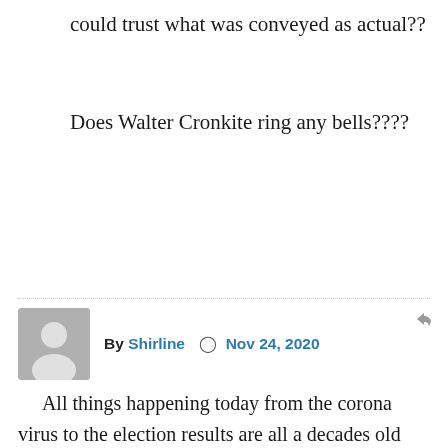could trust what was conveyed as actual??
Does Walter Cronkite ring any bells????
By Shirline  Nov 24, 2020
All things happening today from the corona virus to the election results are all a decades old plan to change America and these events plus many other destructive occurrences such as our loss of privacy, banning religion, destruction of America’s history, possible vaccine and mask mandatory’s, injecting doubt & fear in the hearts of Americans are all part of the plan to